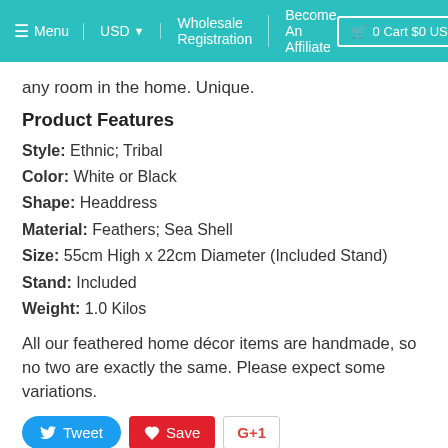Menu  USD  Wholesale Registration  Become An Affiliate  0 Cart $0 USD
any room in the home. Unique.
Product Features
Style: Ethnic; Tribal
Color: White or Black
Shape: Headdress
Material: Feathers; Sea Shell
Size: 55cm High x 22cm Diameter (Included Stand)
Stand: Included
Weight: 1.0 Kilos
All our feathered home décor items are handmade, so no two are exactly the same. Please expect some variations.